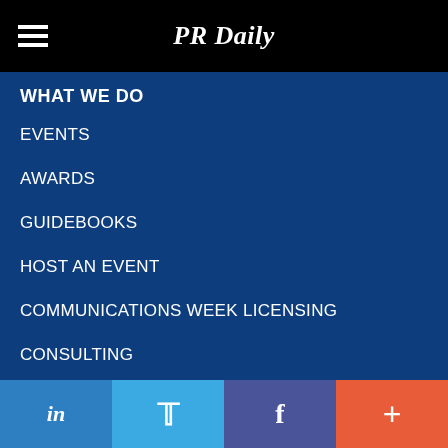PR Daily
WHAT WE DO
EVENTS
AWARDS
GUIDEBOOKS
HOST AN EVENT
COMMUNICATIONS WEEK LICENSING
CONSULTING
JOB BOARD
SPEAK AT AN EVENT
SPONSORSHIP
in  Twitter  f  +